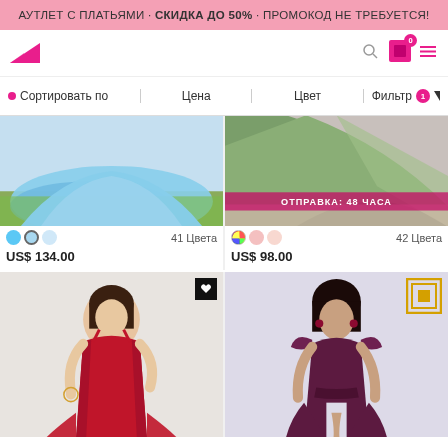АУТЛЕТ С ПЛАТЬЯМИ · СКИДКА ДО 50% · ПРОМОКОД НЕ ТРЕБУЕТСЯ!
[Figure (screenshot): E-commerce navigation bar with logo and cart icon showing 0 items]
• Сортировать по   Цена   Цвет   Фильтр 1
[Figure (photo): Light blue ball gown dress on grass, 41 colors, US$ 134.00]
[Figure (photo): Green formal dress with ОТПРАВКА: 48 ЧАСА badge, 42 colors, US$ 98.00]
[Figure (photo): Red satin midi dress on model with black wishlist button]
[Figure (photo): Dark purple/plum chiffon dress on model with gold sale badge]